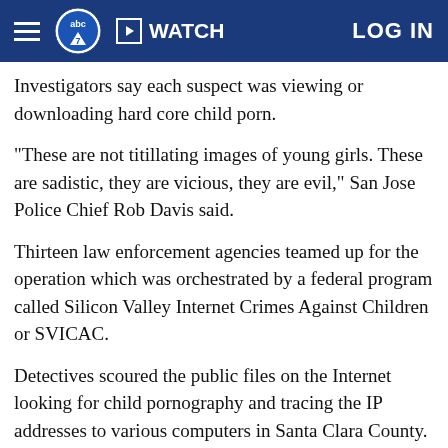abc7 WATCH LOG IN
Investigators say each suspect was viewing or downloading hard core child porn.
"These are not titillating images of young girls. These are sadistic, they are vicious, they are evil," San Jose Police Chief Rob Davis said.
Thirteen law enforcement agencies teamed up for the operation which was orchestrated by a federal program called Silicon Valley Internet Crimes Against Children or SVICAC.
Detectives scoured the public files on the Internet looking for child pornography and tracing the IP addresses to various computers in Santa Clara County.
One of the IP addresses traced back to 65-year-old Roger